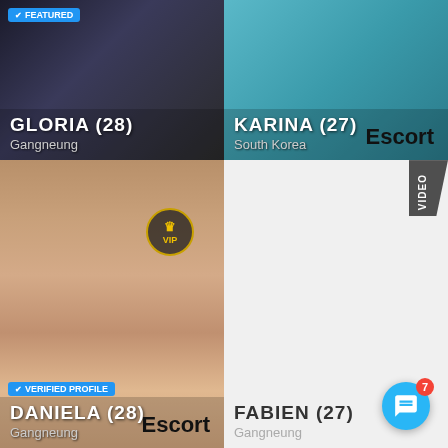[Figure (photo): Top-left card: Featured badge, dark background with motorcycle, profile card for Gloria age 28 from Gangneung]
GLORIA (28)
Gangneung
[Figure (photo): Top-right card: profile card for Karina age 27 from South Korea, teal/pool background, Escort label]
KARINA (27)
South Korea
Escort
[Figure (photo): Bottom-left card: VIP badge, Verified Profile badge, woman with long dark hair in pink outfit seated, profile for Daniela age 28 from Gangneung, Escort label]
DANIELA (28)
Gangneung
Escort
[Figure (photo): Bottom-right card: VIDEO badge, light/white background, profile for Fabien age 27 from Gangneung]
FABIEN (27)
Gangneung